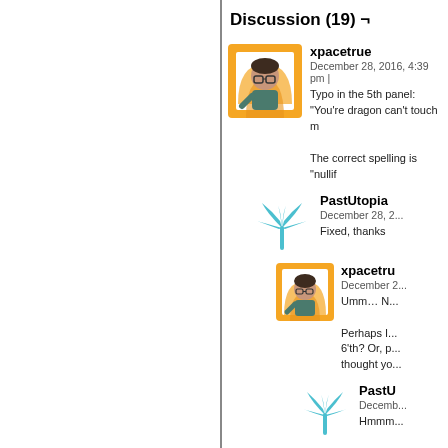Discussion (19) ¬
xpacetrue
December 28, 2016, 4:39 pm |
Typo in the 5th panel:
"You're dragon can't touch m
The correct spelling is "nullif
PastUtopia
December 28, 2...
Fixed, thanks
xpacetru
December 2...
Umm… N...
Perhaps I... 6'th? Or, p... thought yo...
PastU
Decemb...
Hmmm...